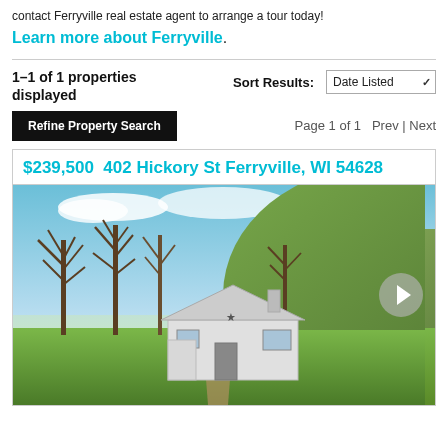contact Ferryville real estate agent to arrange a tour today!
Learn more about Ferryville.
1–1 of 1 properties displayed
Sort Results: Date Listed
Refine Property Search
Page 1 of 1   Prev | Next
$239,500   402 Hickory St Ferryville, WI 54628
[Figure (photo): Exterior photo of a white ranch-style house in Ferryville, WI with bare trees, blue sky with clouds, green hillside in background, and green lawn in foreground.]